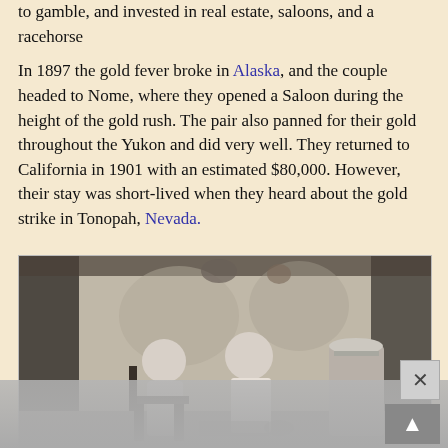to gamble, and invested in real estate, saloons, and a racehorse
In 1897 the gold fever broke in Alaska, and the couple headed to Nome, where they opened a Saloon during the height of the gold rush. The pair also panned for their gold throughout the Yukon and did very well. They returned to California in 1901 with an estimated $80,000. However, their stay was short-lived when they heard about the gold strike in Tonopah, Nevada.
[Figure (photo): Black and white historical photograph showing two people (a woman and a man) seated outdoors under a makeshift shelter or porch. The man is wearing a white shirt. A large metal container or churn is visible on the right side. Trees are visible in the background.]